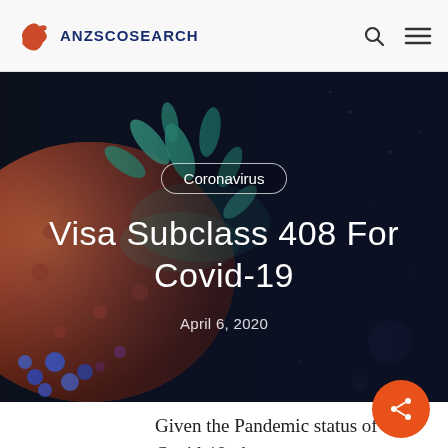ANZSCOSEARCH
[Figure (photo): Microscopic image of coronavirus particles on dark background — colorful 3D render showing spike proteins in green and blue, textured red surface, against a dark navy/black starfield background.]
Coronavirus
Visa Subclass 408 For Covid-19
April 6, 2020
Given the Pandemic status of Covid-19, the Australian Government has announced